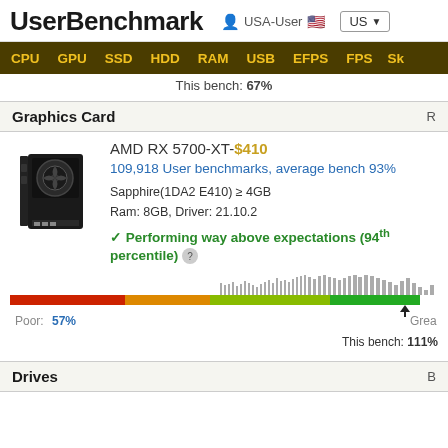UserBenchmark  USA-User  US
CPU  GPU  SSD  HDD  RAM  USB  EFPS  FPS  Sk
This bench: 67%
Graphics Card
[Figure (photo): AMD RX 5700-XT graphics card image]
AMD RX 5700-XT-$410
109,918 User benchmarks, average bench 93%
Sapphire(1DA2 E410) ≥ 4GB
Ram: 8GB, Driver: 21.10.2
✓ Performing way above expectations (94th percentile) ?
[Figure (bar-chart): Benchmark performance bar showing Poor: 57% to Great, This bench: 111%, with histogram distribution overlay]
Poor:  57%
This bench: 111%
Drives  B